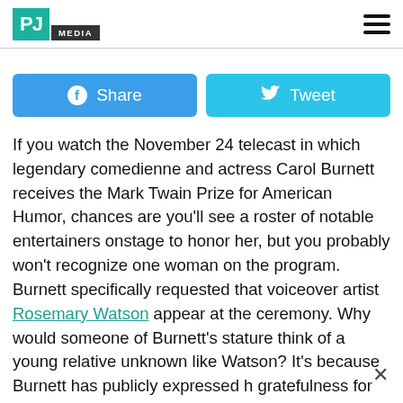PJ MEDIA
[Figure (other): Facebook Share button and Twitter Tweet button]
If you watch the November 24 telecast in which legendary comedienne and actress Carol Burnett receives the Mark Twain Prize for American Humor, chances are you'll see a roster of notable entertainers onstage to honor her, but you probably won't recognize one woman on the program. Burnett specifically requested that voiceover artist Rosemary Watson appear at the ceremony. Why would someone of Burnett's stature think of a young relative unknown like Watson? It's because Burnett has publicly expressed h gratefulness for the breaks she has received in her